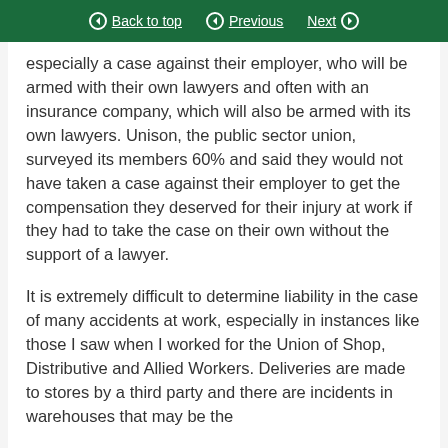Back to top | Previous | Next
especially a case against their employer, who will be armed with their own lawyers and often with an insurance company, which will also be armed with its own lawyers. Unison, the public sector union, surveyed its members 60% and said they would not have taken a case against their employer to get the compensation they deserved for their injury at work if they had to take the case on their own without the support of a lawyer.
It is extremely difficult to determine liability in the case of many accidents at work, especially in instances like those I saw when I worked for the Union of Shop, Distributive and Allied Workers. Deliveries are made to stores by a third party and there are incidents in warehouses that may be the